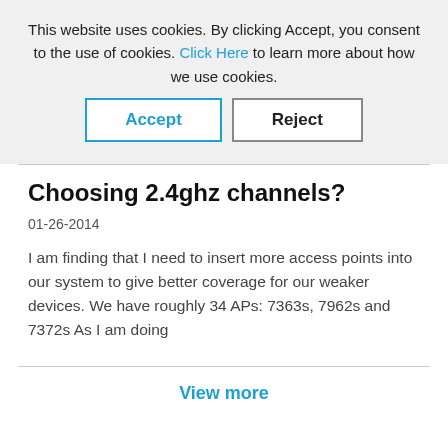This website uses cookies. By clicking Accept, you consent to the use of cookies. Click Here to learn more about how we use cookies.
Accept
Reject
Choosing 2.4ghz channels?
01-26-2014
I am finding that I need to insert more access points into our system to give better coverage for our weaker devices. We have roughly 34 APs: 7363s, 7962s and 7372s As I am doing
View more